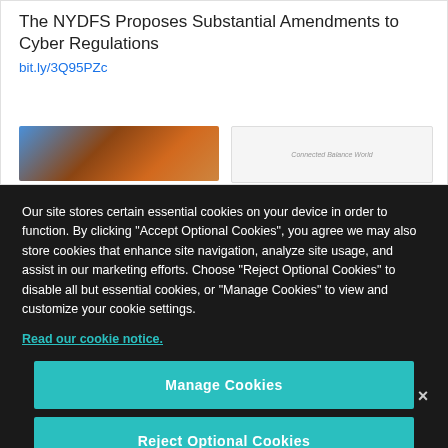The NYDFS Proposes Substantial Amendments to Cyber Regulations
bit.ly/3Q95PZc
[Figure (screenshot): Partial website screenshot showing an article title and a thumbnail image]
Our site stores certain essential cookies on your device in order to function. By clicking “Accept Optional Cookies”, you agree we may also store cookies that enhance site navigation, analyze site usage, and assist in our marketing efforts. Choose “Reject Optional Cookies” to disable all but essential cookies, or “Manage Cookies” to view and customize your cookie settings.
Read our cookie notice.
Manage Cookies
Reject Optional Cookies
Accept Optional Cookies